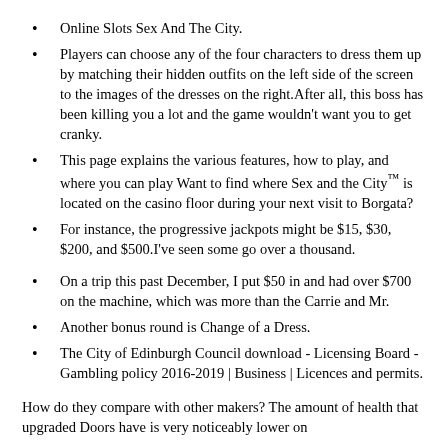Online Slots Sex And The City.
Players can choose any of the four characters to dress them up by matching their hidden outfits on the left side of the screen to the images of the dresses on the right.After all, this boss has been killing you a lot and the game wouldn't want you to get cranky.
This page explains the various features, how to play, and where you can play Want to find where Sex and the City™ is located on the casino floor during your next visit to Borgata?
For instance, the progressive jackpots might be $15, $30, $200, and $500.I've seen some go over a thousand.
On a trip this past December, I put $50 in and had over $700 on the machine, which was more than the Carrie and Mr.
Another bonus round is Change of a Dress.
The City of Edinburgh Council download - Licensing Board - Gambling policy 2016-2019 | Business | Licences and permits.
How do they compare with other makers? The amount of health that upgraded Doors have is very noticeably lower on